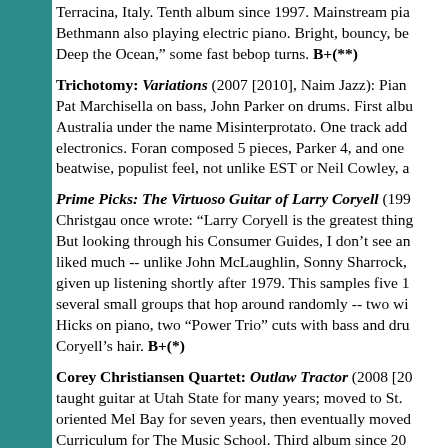Terracina, Italy. Tenth album since 1997. Mainstream pia... Bethmann also playing electric piano. Bright, bouncy, be... Deep the Ocean," some fast bebop turns. B+(**)
Trichotomy: Variations (2007 [2010], Naim Jazz): Pian... Pat Marchisella on bass, John Parker on drums. First albu... Australia under the name Misinterprotato. One track add... electronics. Foran composed 5 pieces, Parker 4, and one ... beatwise, populist feel, not unlike EST or Neil Cowley, a...
Prime Picks: The Virtuoso Guitar of Larry Coryell (199... Christgau once wrote: "Larry Coryell is the greatest thing... But looking through his Consumer Guides, I don't see an... liked much -- unlike John McLaughlin, Sonny Sharrock,... given up listening shortly after 1979. This samples five 1... several small groups that hop around randomly -- two wi... Hicks on piano, two "Power Trio" cuts with bass and dru... Coryell's hair. B+(*)
Corey Christiansen Quartet: Outlaw Tractor (2008 [20... taught guitar at Utah State for many years; moved to St. ... oriented Mel Bay for seven years, then eventually moved... Curriculum for The Music School. Third album since 20... across a dozen-plus such albums every year and usually b... one of the better ones, and surprisingly it's not David Ha...